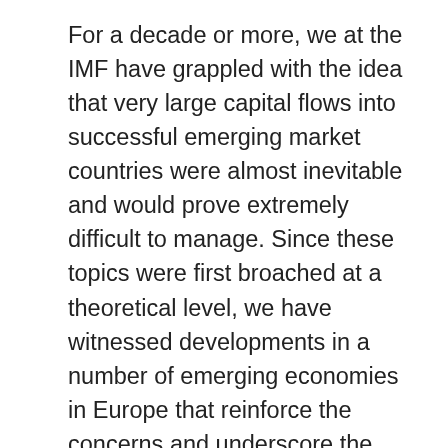For a decade or more, we at the IMF have grappled with the idea that very large capital flows into successful emerging market countries were almost inevitable and would prove extremely difficult to manage. Since these topics were first broached at a theoretical level, we have witnessed developments in a number of emerging economies in Europe that reinforce the concerns and underscore the implications for policy. Two lessons may be learned from the experience. First, the choice between fixed and flexible exchange rates is important, but perhaps not for reasons that are usually put forward. Second, monetary policy—and policy to stabilize the economy more generally—needs substantial